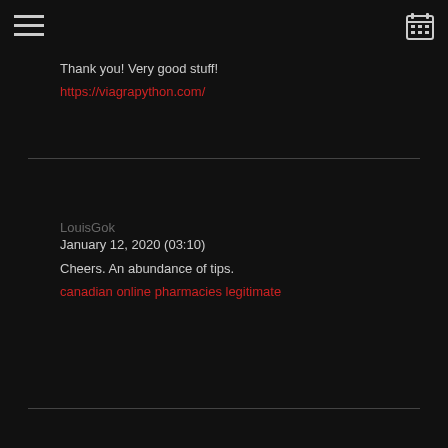[hamburger menu icon] [calendar icon]
Thank you! Very good stuff!
https://viagrapython.com/
LouisGok
January 12, 2020 (03:10)

Cheers. An abundance of tips.
canadian online pharmacies legitimate